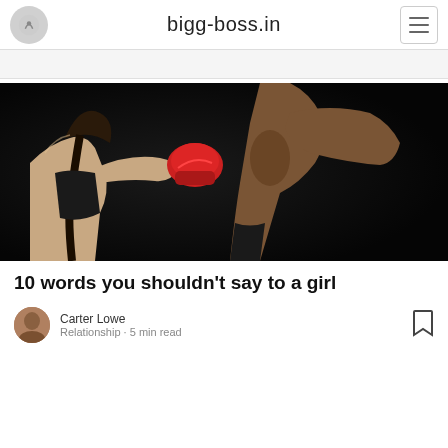bigg-boss.in
[Figure (photo): Woman in black sports top with a boxing glove punching a male fighter, dark background, action sports photography]
10 words you shouldn't say to a girl
Carter Lowe
Relationship · 5 min read